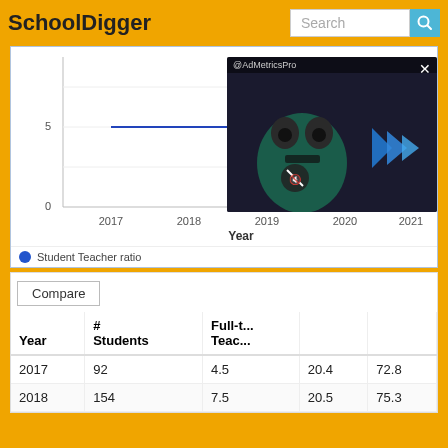SchoolDigger
[Figure (line-chart): Student/Teacher ratio over years]
Student Teacher ratio
[Figure (screenshot): AdMetricsPro video ad overlay showing animated character with blue play button graphics]
| Year | # Students | Full-t... Teac... |  |  |
| --- | --- | --- | --- | --- |
| 2017 | 92 | 4.5 | 20.4 | 72.8 |
| 2018 | 154 | 7.5 | 20.5 | 75.3 |